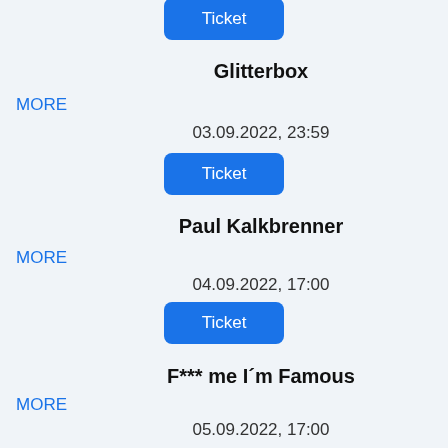Ticket
Glitterbox
MORE
03.09.2022, 23:59
Ticket
Paul Kalkbrenner
MORE
04.09.2022, 17:00
Ticket
F*** me I´m Famous
MORE
05.09.2022, 17:00
Ticket
Elrow Ibiza